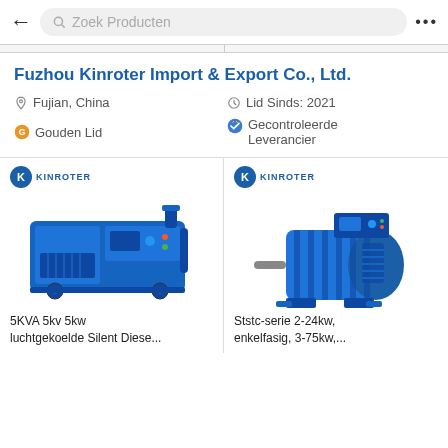Zoek Producten
Fuzhou Kinroter Import & Export Co., Ltd.
Fujian, China
Lid Sinds: 2021
Gouden Lid
Gecontroleerde Leverancier
[Figure (photo): Blue silent diesel generator with control panel, Kinroter branded]
5KVA 5kv 5kw luchtgekoelde Silent Diese...
[Figure (photo): Blue electric motor/alternator, Kinroter branded, Ststc series]
Ststc-serie 2-24kw, enkelfasig, 3-75kw,...